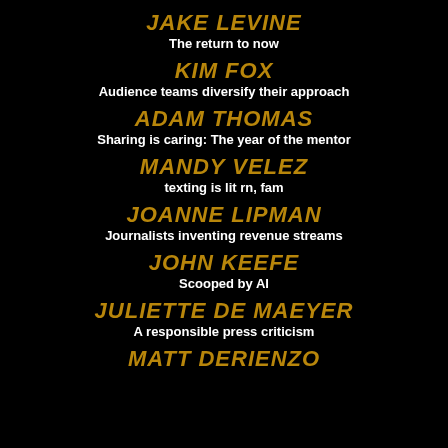JAKE LEVINE
The return to now
KIM FOX
Audience teams diversify their approach
ADAM THOMAS
Sharing is caring: The year of the mentor
MANDY VELEZ
texting is lit rn, fam
JOANNE LIPMAN
Journalists inventing revenue streams
JOHN KEEFE
Scooped by AI
JULIETTE DE MAEYER
A responsible press criticism
MATT DERIENZO